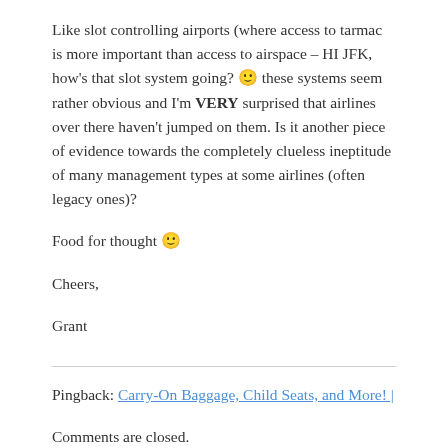Like slot controlling airports (where access to tarmac is more important than access to airspace – HI JFK, how's that slot system going? 🙂 these systems seem rather obvious and I'm VERY surprised that airlines over there haven't jumped on them. Is it another piece of evidence towards the completely clueless ineptitude of many management types at some airlines (often legacy ones)?
Food for thought 🙂
Cheers,
Grant
Pingback: Carry-On Baggage, Child Seats, and More! |
Comments are closed.